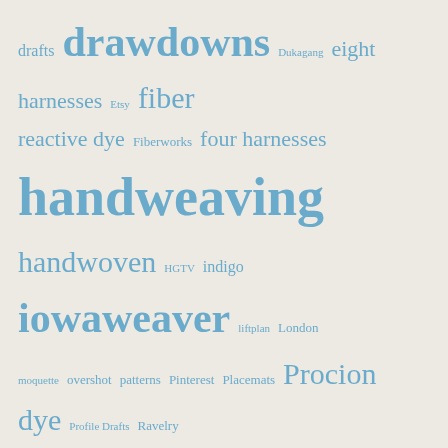[Figure (infographic): Tag cloud with weaving-related terms in varying sizes and shades of blue on a cream background. Terms include: drafts, drawdowns, Dukagang, eight harnesses, Etsy, fiber, reactive dye, Fiberworks, four harnesses, handweaving, handwoven, HGTV, indigo, iowaweaver, liftplan, London, moquette, overshot, patterns, Pinterest, Placemats, Procion dye, Profile Drafts, Ravelry, rayon chenille, Rugs, scarfs, scarves, shibori, slides, Summer and Winter, table loom, Taquete, Tempo Treadle, tencel, text, turned drafts, Turned Taquete, Waffle Weave, wool, woven words]
Recent Posts: iowaweaver
Took the Plunge!
Summer Thoughts
Woven Typography
Weaving “Kitchen Towel”s